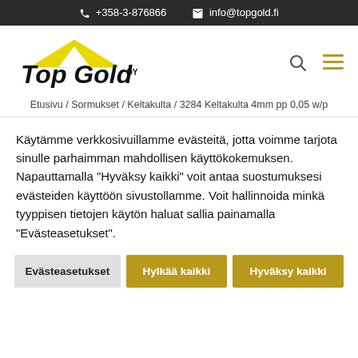+358-3-876866  info@topgold.fi
[Figure (logo): Top Gold Oy logo with yellow roof shape above text]
Etusivu / Sormukset / Keltakulta / 3284 Keltakulta 4mm pp 0,05 w/p
Käytämme verkkosivuillamme evästeitä, jotta voimme tarjota sinulle parhaimman mahdollisen käyttökokemuksen. Napauttamalla "Hyväksy kaikki" voit antaa suostumuksesi evästeiden käyttöön sivustollamme. Voit hallinnoida minkä tyyppisen tietojen käytön haluat sallia painamalla "Evästeasetukset".
Evästeasetukset
Hylkää kaikki
Hyväksy kaikki